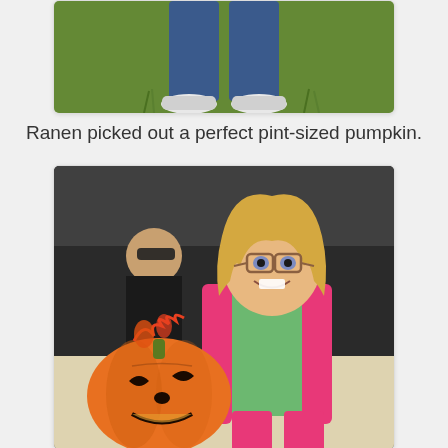[Figure (photo): Top portion of a child standing on grass, showing only legs/feet in jeans and sneakers]
Ranen picked out a perfect pint-sized pumpkin.
[Figure (photo): A young blonde girl wearing glasses, a green sweater and pink jacket, smiling and posing next to a decorated carved pumpkin on a table at an outdoor event. A woman with sunglasses is visible in the background.]